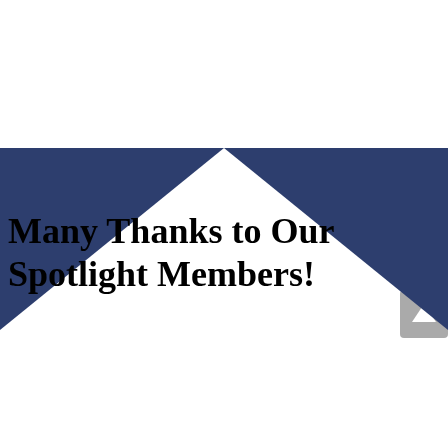[Figure (illustration): Navy blue chevron/arrow shape pointing upward at the top of the page, with a white triangular area in the center forming a downward-pointing triangle (like a house roof silhouette). Text 'Many Thanks to Our Spotlight Members!' overlaid on the white area.]
Many Thanks to Our Spotlight Members!